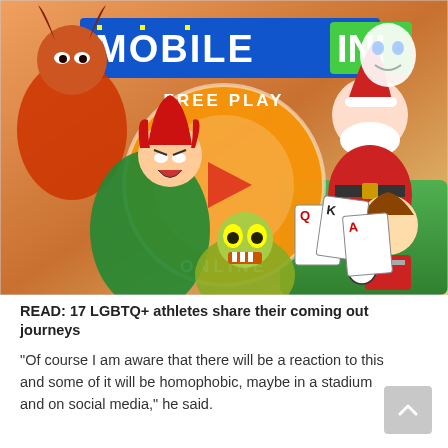[Figure (illustration): Mobile INI gaming advertisement banner with colorful cartoon game characters (warrior, anime fighter, goblin, soccer player, Santa, ghost), a large orange circle with 'FREE PLAY ONLINE' text and a play button in the center, and 'MOBILE INI' logo at the top in blue and green pixel-style text.]
READ: 17 LGBTQ+ athletes share their coming out journeys
"Of course I am aware that there will be a reaction to this and some of it will be homophobic, maybe in a stadium and on social media," he said.